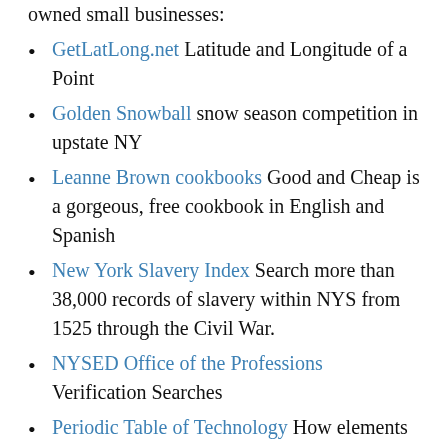owned small businesses:
GetLatLong.net Latitude and Longitude of a Point
Golden Snowball snow season competition in upstate NY
Leanne Brown cookbooks Good and Cheap is a gorgeous, free cookbook in English and Spanish
New York Slavery Index Search more than 38,000 records of slavery within NYS from 1525 through the Civil War.
NYSED Office of the Professions Verification Searches
Periodic Table of Technology How elements are used in everyday tech-use
Senior Discounts Across the US, businesses